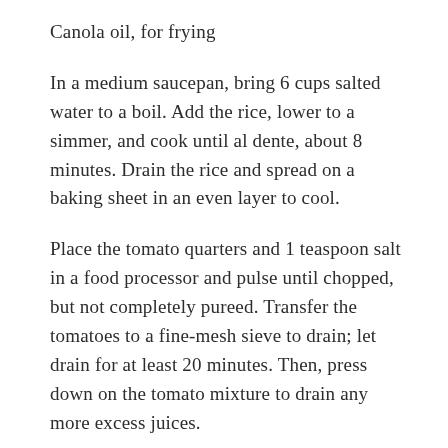Canola oil, for frying
In a medium saucepan, bring 6 cups salted water to a boil. Add the rice, lower to a simmer, and cook until al dente, about 8 minutes. Drain the rice and spread on a baking sheet in an even layer to cool.
Place the tomato quarters and 1 teaspoon salt in a food processor and pulse until chopped, but not completely pureed. Transfer the tomatoes to a fine-mesh sieve to drain; let drain for at least 20 minutes. Then, press down on the tomato mixture to drain any more excess juices.